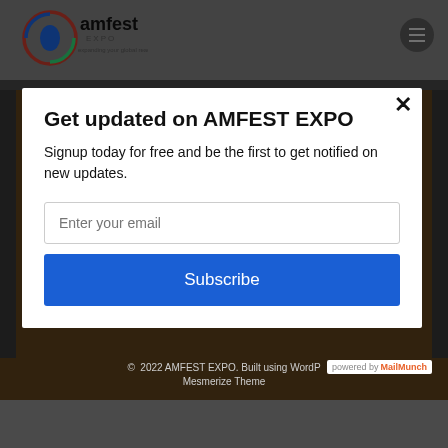[Figure (logo): Amfest Expo logo with Africa continent graphic and text 'amfest EXPO expanding your global reach']
Get updated on AMFEST EXPO
Signup today for free and be the first to get notified on new updates.
Enter your email
Subscribe
© 2022 AMFEST EXPO. Built using WordPress and Mesmerize Theme
powered by MailMunch